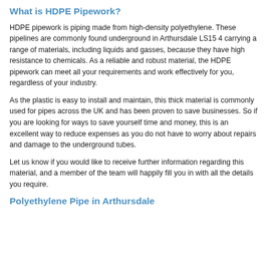What is HDPE Pipework?
HDPE pipework is piping made from high-density polyethylene. These pipelines are commonly found underground in Arthursdale LS15 4 carrying a range of materials, including liquids and gasses, because they have high resistance to chemicals. As a reliable and robust material, the HDPE pipework can meet all your requirements and work effectively for you, regardless of your industry.
As the plastic is easy to install and maintain, this thick material is commonly used for pipes across the UK and has been proven to save businesses. So if you are looking for ways to save yourself time and money, this is an excellent way to reduce expenses as you do not have to worry about repairs and damage to the underground tubes.
Let us know if you would like to receive further information regarding this material, and a member of the team will happily fill you in with all the details you require.
Polyethylene Pipe in Arthursdale